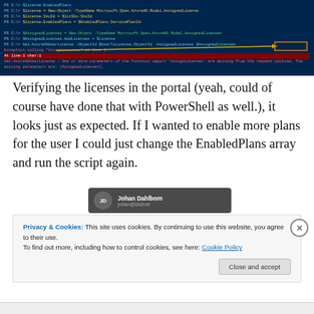[Figure (screenshot): PowerShell terminal window showing Azure license management script commands with colored output, error highlights, and a yellow arrow pointing to a highlighted box on the right side.]
Verifying the licenses in the portal (yeah, could of course have done that with PowerShell as well.), it looks just as expected. If I wanted to enable more plans for the user I could just change the EnabledPlans array and run the script again.
[Figure (screenshot): Author card showing 'Johan Dahlbom' with email 'johan@islstnet' on a dark grey background with circular avatar initials 'JD'.]
Privacy & Cookies: This site uses cookies. By continuing to use this website, you agree to their use.
To find out more, including how to control cookies, see here: Cookie Policy
Close and accept